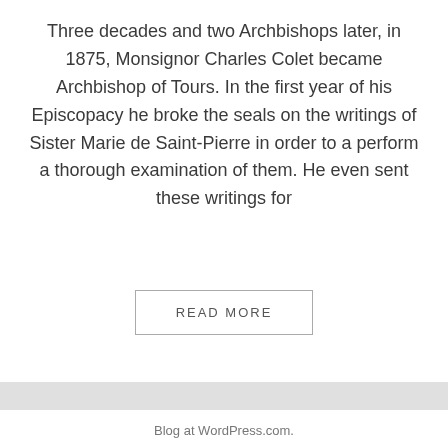Three decades and two Archbishops later, in 1875, Monsignor Charles Colet became Archbishop of Tours. In the first year of his Episcopacy he broke the seals on the writings of Sister Marie de Saint-Pierre in order to a perform a thorough examination of them. He even sent these writings for
READ MORE
Blog at WordPress.com.